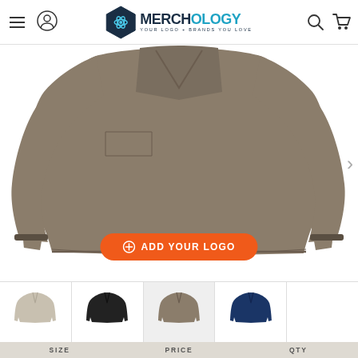Merchology — YOUR LOGO + BRANDS YOU LOVE
[Figure (photo): Close-up product photo of a khaki/tan v-neck pullover windshirt jacket showing the torso and arms on a white background. The jacket has side pockets and cuffed sleeves.]
⊕ ADD YOUR LOGO
[Figure (photo): Thumbnail of light gray/stone colored v-neck pullover jacket]
[Figure (photo): Thumbnail of black v-neck pullover jacket]
[Figure (photo): Thumbnail of khaki/tan v-neck pullover jacket (currently selected)]
[Figure (photo): Thumbnail of navy blue v-neck pullover jacket]
SIZE	PRICE	QTY